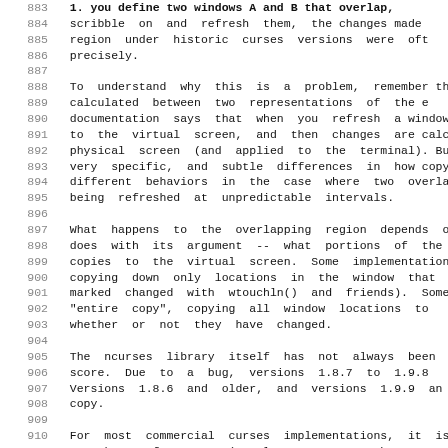883 [truncated] if you define two windows A and B that overlap, and scribble on and refresh them, the changes made region under historic curses versions were often precisely.

888 To understand why this is a problem, remember that calculated between two representations of the e documentation says that when you refresh a window, to the virtual screen, and then changes are calcu physical screen (and applied to the terminal). But very specific, and subtle differences in how copying different behaviors in the case where two overlappin being refreshed at unpredictable intervals.

897 What happens to the overlapping region depends on w does with its argument -- what portions of the copies to the virtual screen. Some implementations copying down only locations in the window that hav marked changed with wtouchln() and friends). Some "entire copy", copying all window locations to whether or not they have changed.

905 The ncurses library itself has not always been score. Due to a bug, versions 1.8.7 to 1.9.8 Versions 1.8.6 and older, and versions 1.9.9 an copy.

910 For most commercial curses implementations, it is not known for sure (at least not to the ncurses ma they do change copy or entire copy. We know that curses has logic in it that looks like an attempt but the surrounding logic and data representation complex, and our knowledge sufficiently indirect